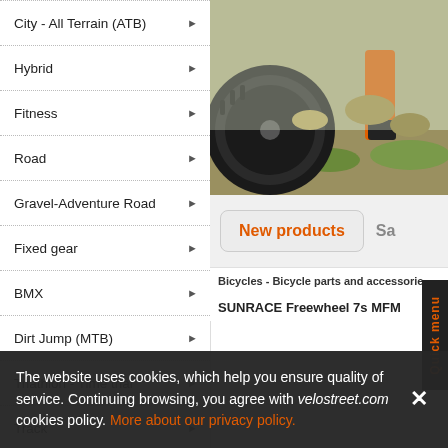City - All Terrain (ATB)
Hybrid
Fitness
Road
Gravel-Adventure Road
Fixed gear
BMX
Dirt Jump (MTB)
Triathlon - Time trial
Track
Electric bicycles
Cargo transport e-bikes
[Figure (photo): Mountain bike wheel on rocky terrain with rider wearing orange pants]
New products
Sa
Bicycles - Bicycle parts and accessories
SUNRACE Freewheel 7s MFM
Quick menu
The website uses cookies, which help you ensure quality of service. Continuing browsing, you agree with velostreet.com cookies policy. More about our privacy policy.